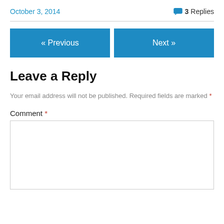October 3, 2014
3 Replies
« Previous
Next »
Leave a Reply
Your email address will not be published. Required fields are marked *
Comment *